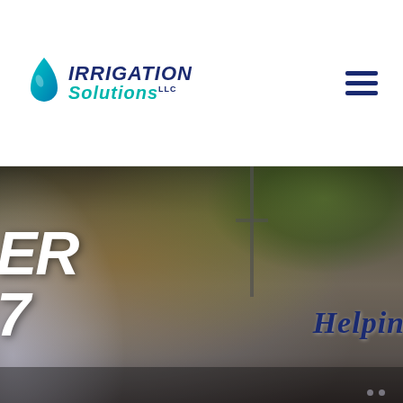[Figure (logo): Irrigation Solutions LLC logo with blue water drop icon, bold dark blue italic IRRIGATION text and teal cursive Solutions text]
[Figure (illustration): Hamburger menu icon with three horizontal dark navy bars]
[Figure (photo): Hero image of lawn irrigation sprinkler spraying water mist over a landscape with trees and a pole in the background. Partially visible white bold italic text on left side reading 'ER' and '7'. Partially visible dark blue italic text on right reading 'Helpin'.]